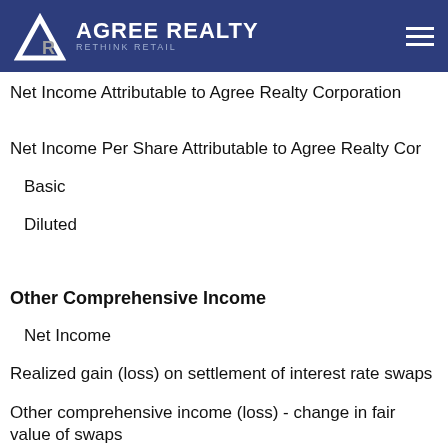AGREE REALTY RETHINK RETAIL
Net Income Attributable to Agree Realty Corporation
Net Income Per Share Attributable to Agree Realty Corporation
Basic
Diluted
Other Comprehensive Income
Net Income
Realized gain (loss) on settlement of interest rate swaps
Other comprehensive income (loss) - change in fair value of swaps